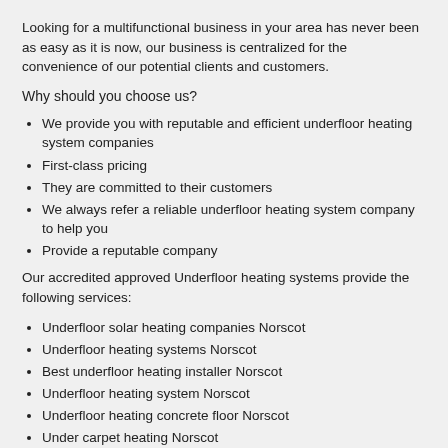Looking for a multifunctional business in your area has never been as easy as it is now, our business is centralized for the convenience of our potential clients and customers.
Why should you choose us?
We provide you with reputable and efficient underfloor heating system companies
First-class pricing
They are committed to their customers
We always refer a reliable underfloor heating system company to help you
Provide a reputable company
Our accredited approved Underfloor heating systems provide the following services:
Underfloor solar heating companies Norscot
Underfloor heating systems Norscot
Best underfloor heating installer Norscot
Underfloor heating system Norscot
Underfloor heating concrete floor Norscot
Under carpet heating Norscot
Speedheat underfloor heating Norscot
Underfloor heating systems Norscot
Electric floor heating Norscot
Heated floors Norscot
Solar powered underfloor heating Norscot